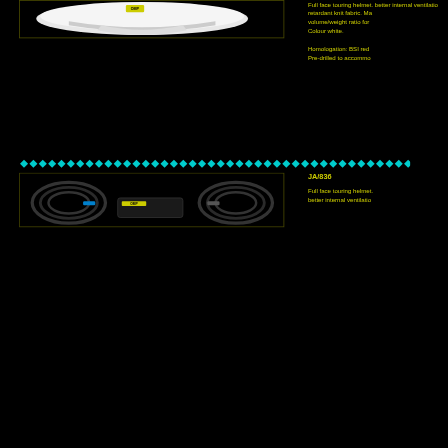[Figure (photo): White full face motorcycle/racing helmet photographed on black background, showing top/side view with OMP branding badge visible]
Full face touring helmet. better internal ventilation. retardant knit fabric. Ma volume/weight ratio for Colour white.

Homologation: BSI red Pre-drilled to accommo
[Figure (illustration): Row of cyan diamond/chevron decorative divider elements]
JA/836
[Figure (photo): Black cables and intercom/audio equipment for full face touring helmet, including coiled cables and a control box with OMP branding]
Full face touring helmet. better internal ventilatio